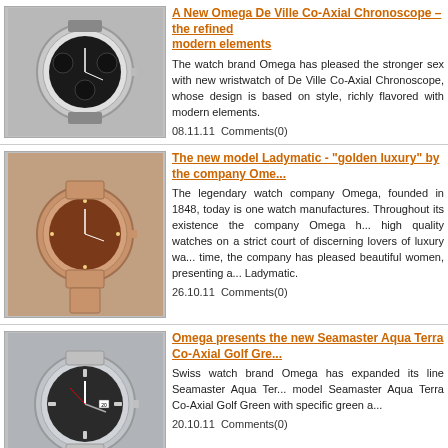A New Omega De Ville Co-Axial Chronoscope – the refined modern elements
The watch brand Omega has pleased the stronger sex with new wristwatch of De Ville Co-Axial Chronoscope, whose design is based on style, richly flavored with modern elements.
08.11.11  Comments(0)
The new model Ladymatic - "golden luxury" by the company Ome...
The legendary watch company Omega, founded in 1848, today is one watch manufactures. Throughout its existence the company Omega h... high quality watches on a strict court of discerning lovers of luxury wa... time, the company has pleased beautiful women, presenting a... Ladymatic.
26.10.11  Comments(0)
Omega presents the new Seamaster Aqua Terra Co-Axial Golf Gre...
Swiss watch brand Omega has expanded its line Seamaster Aqua Ter... model Seamaster Aqua Terra Co-Axial Golf Green with specific green a...
20.10.11  Comments(0)
New Chronograph Omega Speedmaster
The watch company Omega has expanded its collection Speedmaste... is a chronograph with the coaxial escapement. The novelty looks ve... watch is made mostly in elegant black.
03.10.11  Comments(0)
All materials on this site copyright law. Any usage o...